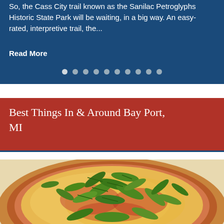So, the Cass City trail known as the Sanilac Petroglyphs Historic State Park will be waiting, in a big way. An easy-rated, interpretive trail, the...
Read More
Best Things In & Around Bay Port, MI
[Figure (photo): Close-up photograph of a pizza topped with arugula and fresh greens on a light stone surface]